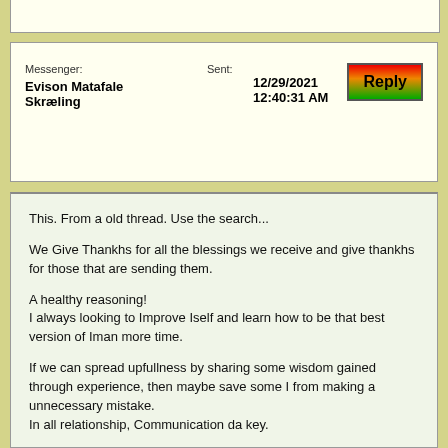Messenger: Evison Matafale Skræling    Sent: 12/29/2021 12:40:31 AM
This. From a old thread. Use the search...

We Give Thankhs for all the blessings we receive and give thankhs for those that are sending them.

A healthy reasoning!
I always looking to Improve Iself and learn how to be that best version of Iman more time.

If we can spread upfullness by sharing some wisdom gained through experience, then maybe save some I from making a unnecessary mistake.
In all relationship, Communication da key.

Nice term RastaGoddess "Biblical conditioning" accurate!

Decide if trust exist, and to what extent.
Dont underestimate the power of ceremony.
When Iyah is ready or see fit